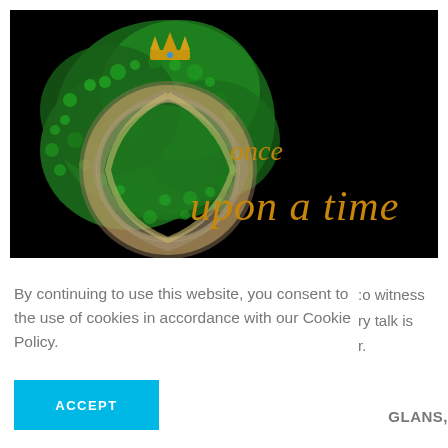[Figure (illustration): Once Upon a Time logo/banner on black background with golden ornate letter O decorated with green shamrock/foliage, crown on top, and golden medieval-style text reading 'once upon a time']
By continuing to use this website, you consent to the use of cookies in accordance with our Cookie Policy.
:o witness ry talk is r.
GLANS,
[Figure (other): ACCEPT button — cyan/blue rectangle with white bold text 'ACCEPT']